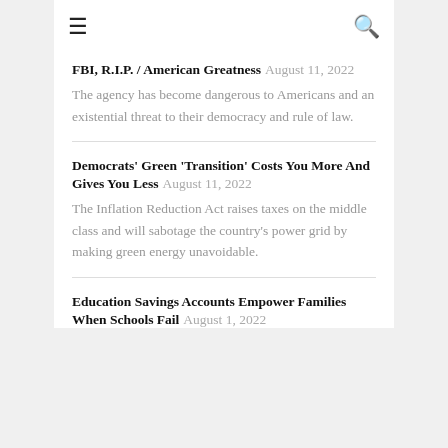≡  🔍
FBI, R.I.P. / American Greatness August 11, 2022
The agency has become dangerous to Americans and an existential threat to their democracy and rule of law.
Democrats' Green 'Transition' Costs You More And Gives You Less August 11, 2022
The Inflation Reduction Act raises taxes on the middle class and will sabotage the country's power grid by making green energy unavoidable.
Education Savings Accounts Empower Families When Schools Fail August 1, 2022